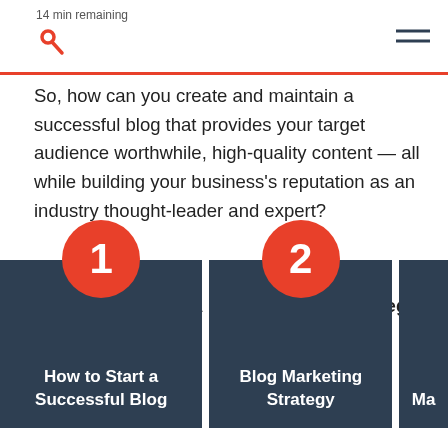14 min remaining
So, how can you create and maintain a successful blog that provides your target audience worthwhile, high-quality content — all while building your business's reputation as an industry thought-leader and expert?
The answer is with a blog marketing strategy.
[Figure (infographic): Three numbered cards in dark blue. Card 1: How to Start a Successful Blog. Card 2: Blog Marketing Strategy. Card 3: partially visible (Ma...).]
1 How to Start a Successful Blog
2 Blog Marketing Strategy
3 Ma...